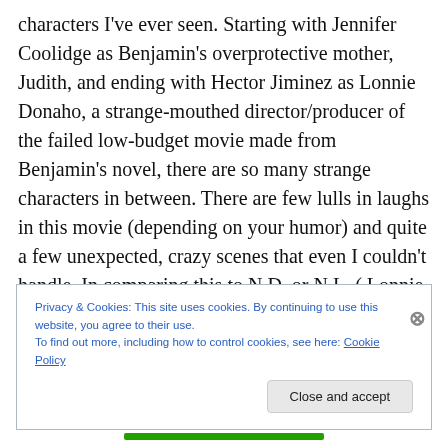characters I've ever seen. Starting with Jennifer Coolidge as Benjamin's overprotective mother, Judith, and ending with Hector Jiminez as Lonnie Donaho, a strange-mouthed director/producer of the failed low-budget movie made from Benjamin's novel, there are so many strange characters in between. There are few lulls in laughs in this movie (depending on your humor) and quite a few unexpected, crazy scenes that even I couldn't handle. In comparing this to N.D. or N.L. ( Lonnie was also cast in Nacho Libre as another ridiculous character, go figure.) this movie goes farther than the other two. I mean, there's
Privacy & Cookies: This site uses cookies. By continuing to use this website, you agree to their use.
To find out more, including how to control cookies, see here: Cookie Policy